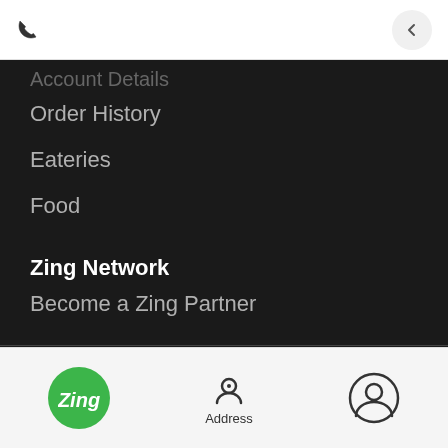[Figure (screenshot): Phone icon on top bar]
[Figure (screenshot): Back arrow button on top bar]
Account Details (faded/partial)
Order History
Eateries
Food
Zing Network
Become a Zing Partner
Privacy   Terms & Conditions
[Figure (logo): Visa payment card logo]
[Figure (logo): American Express payment card logo]
[Figure (logo): MasterCard payment card logo]
[Figure (logo): Zing green circle logo]
Address
[Figure (illustration): User/account profile icon]